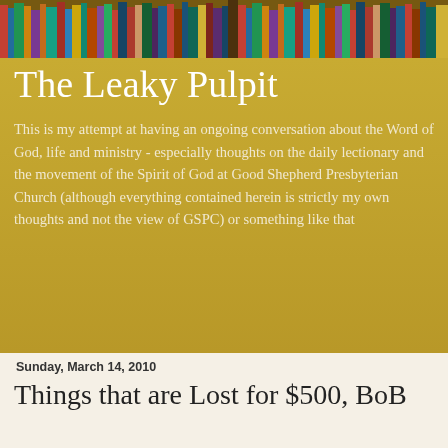[Figure (photo): Colorful bookshelf with many books of various colors arranged tightly together, viewed from slightly below]
The Leaky Pulpit
This is my attempt at having an ongoing conversation about the Word of God, life and ministry - especially thoughts on the daily lectionary and the movement of the Spirit of God at Good Shepherd Presbyterian Church (although everything contained herein is strictly my own thoughts and not the view of GSPC) or something like that
Sunday, March 14, 2010
Things that are Lost for $500, BoB